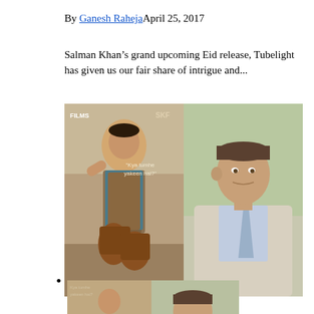By Ganesh RahejaApril 25, 2017
Salman Khan’s grand upcoming Eid release, Tubelight has given us our fair share of intrigue and...
[Figure (photo): Side-by-side comparison meme: left side shows a Bollywood movie poster for 'Tubelight' featuring Salman Khan in a saluting pose wearing a vest and boots, with text 'FILMS', 'SKF', and 'Kya tumhe yakeen hai?'; right side shows Tom Hanks from Forrest Gump in a suit with blue tie, looking to his left.]
[Figure (photo): A smaller thumbnail version of the same side-by-side Tubelight / Forrest Gump meme comparison image, showing 'LIGHT' text at the bottom.]